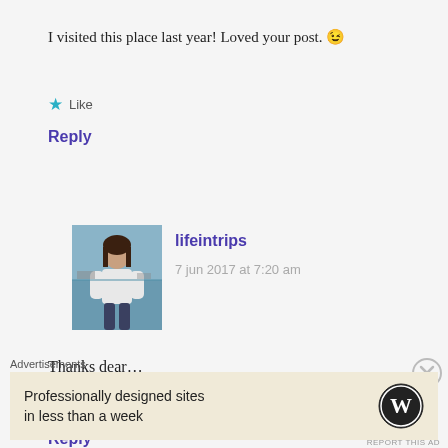I visited this place last year! Loved your post. 😉
★ Like
Reply
[Figure (photo): Avatar photo of a woman standing near water, wearing a white top]
lifeintrips
7 jun 2017 at 7:20 am
Thanks dear…
★ Liked by 1 person
Reply
Advertisements
Professionally designed sites in less than a week
[Figure (logo): WordPress logo — circular W mark in black and white]